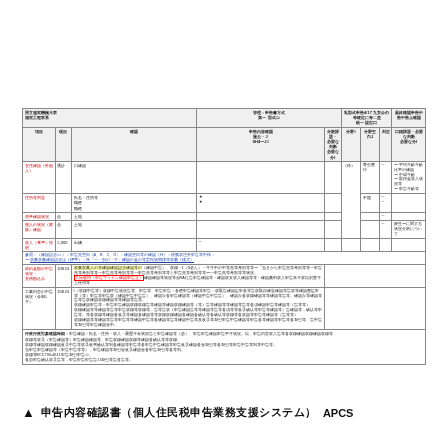| 項目 | 現況 | 確認 | 申請内容確認 | 分散課題・必要な判断 | 分野空白J | 判定 | 口頭課題・必要な判断 |
| --- | --- | --- | --- | --- | --- | --- | --- |
| 在住確認（外国人） | 通計 | 口確認 |  |  | 寄全書行 |  | 〜平均年齢年齢比率の確認 |
| 住所等判定 |  | 氏名・住所等 |  |  | 不随 |  | 〜中間年齢 |
| 収入確認 | 合 | 収入・世帯等 | ★ |  |  |  | 〜取得金収入状況等 |
| 資産確認状況 | 合 | 土地 | 職種 |  |  |  |  |
| 個人の状況（家族）確認 | 合 | 土地 |  |  |  |  |  |
| 特定（基本）情報 | 合 |  |  |  |  |  | 鑑生～に関する状況分析について |
| 収入（基準）段階 | 2,000 | 出構 |  |  |  |  |  |
| 締約金額の中告状況・充稍額込み | 108.01 |  |  |  |  |  |  |
| 工事内容の中告状況（令和5年） | 108.01 |  |  |  |  |  |  |
| 特定申請月積み立て | 108.1 |  |  |  |  |  |  |
| 積み | 108.1 |  |  |  |  |  |  |
| 配達確認申告書添付 | 108.1 |  |  |  |  |  |  |
| 行政行政対象確認時期 | （申告） | 申告確認・氏名・住所・履歴年令状況と、申告平年状況（必）：申告内容に含む状況対照中小企業 |  |  |  |  |  |
| 備考 |  |  |  |  |  |  |  |
▲ 申告内容確認書（個人住民税申告業務支援システム） APCS